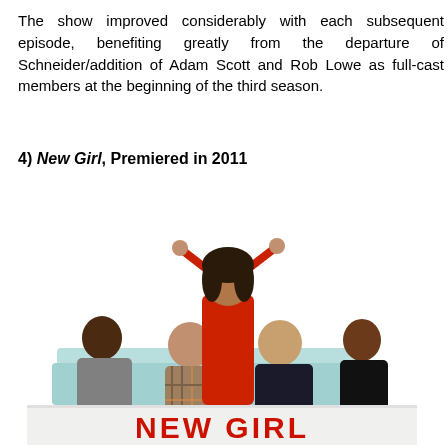The show improved considerably with each subsequent episode, benefiting greatly from the departure of Schneider/addition of Adam Scott and Rob Lowe as full-cast members at the beginning of the third season.
4) New Girl, Premiered in 2011
[Figure (photo): Promotional photo for New Girl TV show featuring five cast members — one woman in a red dress standing with arms raised in the center, and four others seated on a light blue couch. 'NEW GIRL' text appears at the bottom in red.]